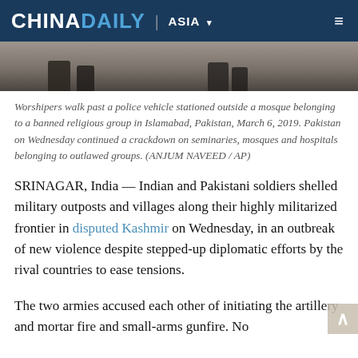CHINA DAILY | ASIA
[Figure (photo): Partial photograph showing the lower portion of worshipers walking, with dark pavement visible.]
Worshipers walk past a police vehicle stationed outside a mosque belonging to a banned religious group in Islamabad, Pakistan, March 6, 2019. Pakistan on Wednesday continued a crackdown on seminaries, mosques and hospitals belonging to outlawed groups. (ANJUM NAVEED / AP)
SRINAGAR, India — Indian and Pakistani soldiers shelled military outposts and villages along their highly militarized frontier in disputed Kashmir on Wednesday, in an outbreak of new violence despite stepped-up diplomatic efforts by the rival countries to ease tensions.
The two armies accused each other of initiating the artillery and mortar fire and small-arms gunfire. No